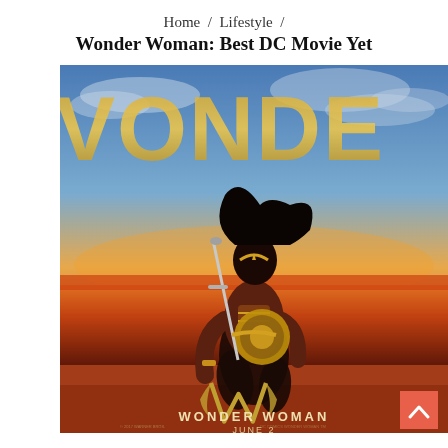Home / Lifestyle /
Wonder Woman: Best DC Movie Yet
[Figure (photo): Wonder Woman movie poster showing the character in costume holding a sword and shield, crouching against a dramatic orange/golden sunset background. Large golden letters 'WONDER' appear behind her. The Wonder Woman logo (stylized W) and text 'WONDER WOMAN JUNE 2' appear at the bottom. A coral/red scroll-to-top button with a chevron arrow appears in the bottom right corner.]